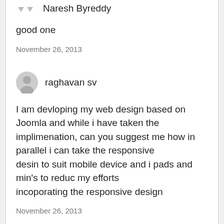Naresh Byreddy
good one
November 26, 2013
raghavan sv
I am devloping my web design based on Joomla and while i have taken the implimenation, can you suggest me how in parallel i can take the responsive desin to suit mobile device and i pads and min's to reduc my efforts incoporating the responsive design
November 26, 2013